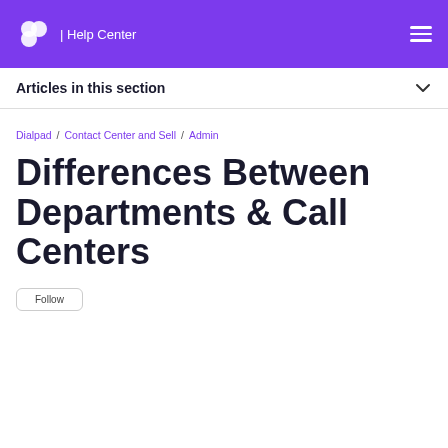| Help Center
Articles in this section
Dialpad / Contact Center and Sell / Admin
Differences Between Departments & Call Centers
Follow